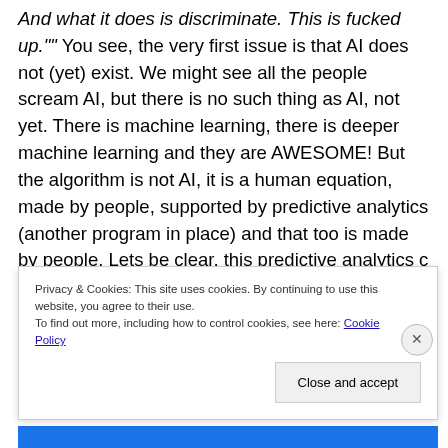And what it does is discriminate. This is fucked up."" You see, the very first issue is that AI does not (yet) exist. We might see all the people scream AI, but there is no such thing as AI, not yet. There is machine learning, there is deeper machine learning and they are AWESOME! But the algorithm is not AI, it is a human equation, made by people, supported by predictive analytics (another program in place) and that too is made by people. Lets be clear, this predictive analytics c an be as good as it is, but it relies on data it has access to. To give a simple example.
Privacy & Cookies: This site uses cookies. By continuing to use this website, you agree to their use. To find out more, including how to control cookies, see here: Cookie Policy
Close and accept